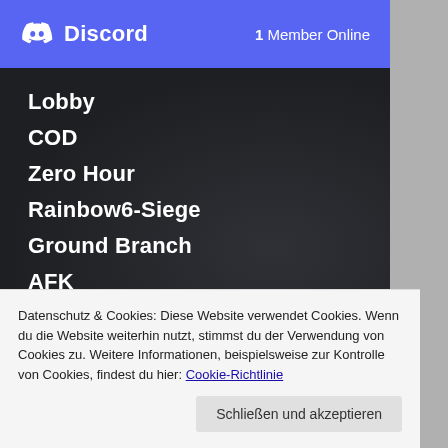Discord  1 Member Online
Lobby
COD
Zero Hour
Rainbow6-Siege
Ground Branch
AFK
Battlefield 2042
Datenschutz & Cookies: Diese Website verwendet Cookies. Wenn du die Website weiterhin nutzt, stimmst du der Verwendung von Cookies zu. Weitere Informationen, beispielsweise zur Kontrolle von Cookies, findest du hier: Cookie-Richtlinie
Schließen und akzeptieren